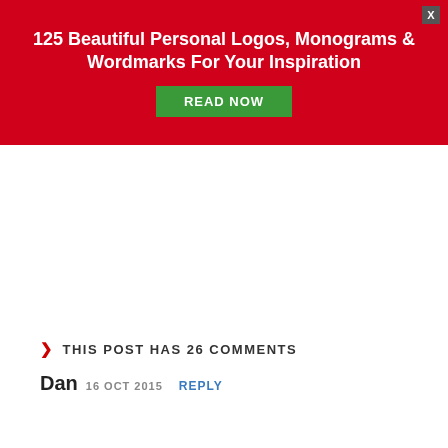[Figure (infographic): Red promotional banner with white bold text '125 Beautiful Personal Logos, Monograms & Wordmarks For Your Inspiration', a green 'READ NOW' button, and a close X button in the top right corner.]
THIS POST HAS 26 COMMENTS
Dan 16 OCT 2015 REPLY
[Figure (infographic): Gray advertisement banner for Ovinda Cosmetics showing a circular logo, text 'Doğal Cilt Bakım Ürünleri', and a 'Siteye Gidin' call-to-action button.]